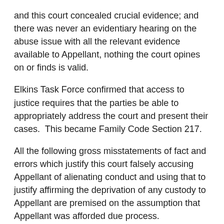and this court concealed crucial evidence; and there was never an evidentiary hearing on the abuse issue with all the relevant evidence available to Appellant, nothing the court opines on or finds is valid.
Elkins Task Force confirmed that access to justice requires that the parties be able to appropriately address the court and present their cases.  This became Family Code Section 217.
All the following gross misstatements of fact and errors which justify this court falsely accusing Appellant of alienating conduct and using that to justify affirming the deprivation of any custody to Appellant are premised on the assumption that Appellant was afforded due process.
IV.  APPELLATE COURT HAS GROSSLY MISSTATED FACTS FOR THE PURPOSE OF JUSTIFYING AND AFFIRMING THE TRIAL COURT'S DEPRIVATION OF ANY